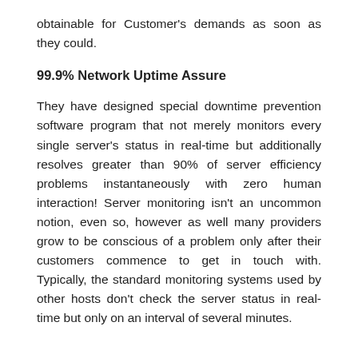obtainable for Customer's demands as soon as they could.
99.9% Network Uptime Assure
They have designed special downtime prevention software program that not merely monitors every single server's status in real-time but additionally resolves greater than 90% of server efficiency problems instantaneously with zero human interaction! Server monitoring isn't an uncommon notion, even so, however as well many providers grow to be conscious of a problem only after their customers commence to get in touch with. Typically, the standard monitoring systems used by other hosts don't check the server status in real-time but only on an interval of several minutes.